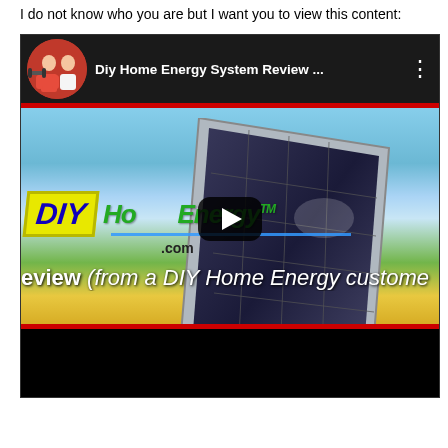I do not know who you are but I want you to view this content:
[Figure (screenshot): Screenshot of a YouTube video thumbnail for 'Diy Home Energy System Review ...' showing a solar panel against a blue sky and green field background, with DIY Home Energy logo and play button overlay. Subtitle text reads 'eview (from a DIY Home Energy custome']